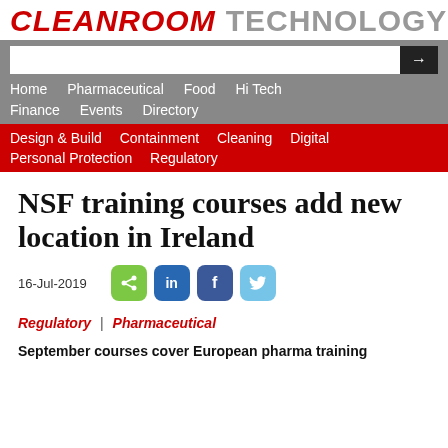CLEANROOM TECHNOLOGY
Home  Pharmaceutical  Food  Hi Tech  Finance  Events  Directory
Design & Build  Containment  Cleaning  Digital  Personal Protection  Regulatory
NSF training courses add new location in Ireland
16-Jul-2019
Regulatory | Pharmaceutical
September courses cover European pharma training